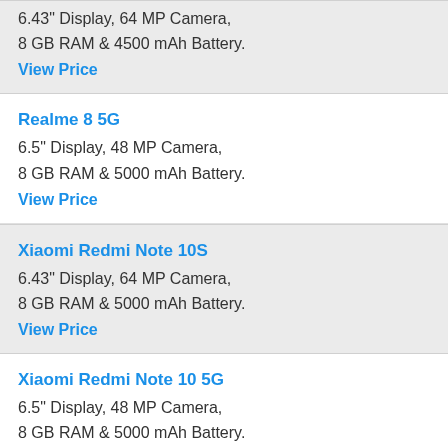6.43" Display, 64 MP Camera, 8 GB RAM & 4500 mAh Battery.
View Price
Realme 8 5G
6.5" Display, 48 MP Camera, 8 GB RAM & 5000 mAh Battery.
View Price
Xiaomi Redmi Note 10S
6.43" Display, 64 MP Camera, 8 GB RAM & 5000 mAh Battery.
View Price
Xiaomi Redmi Note 10 5G
6.5" Display, 48 MP Camera, 8 GB RAM & 5000 mAh Battery.
View Price